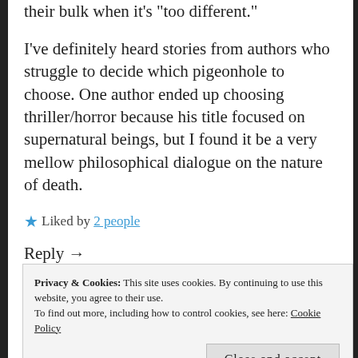their bulk when it's 'too different.'
I've definitely heard stories from authors who struggle to decide which pigeonhole to choose. One author ended up choosing thriller/horror because his title focused on supernatural beings, but I found it be a very mellow philosophical dialogue on the nature of death.
★ Liked by 2 people
Reply →
Privacy & Cookies: This site uses cookies. By continuing to use this website, you agree to their use. To find out more, including how to control cookies, see here: Cookie Policy
Close and accept
I do know from a readers point of view